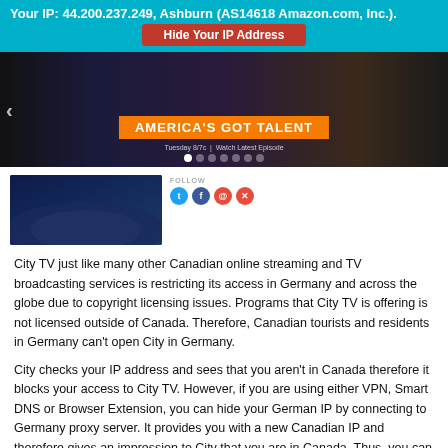Your IP: 44.200.237.249, Ashburn (AS14618 Amazon.com, Inc.).
Hide Your IP Address
[Figure (screenshot): America's Got Talent banner with show title overlay and navigation dots]
[Figure (screenshot): America's Got Talent thumbnail image with social media follow icons]
City TV just like many other Canadian online streaming and TV broadcasting services is restricting its access in Germany and across the globe due to copyright licensing issues. Programs that City TV is offering is not licensed outside of Canada. Therefore, Canadian tourists and residents in Germany can't open City in Germany.
City checks your IP address and sees that you aren't in Canada therefore it blocks your access to City TV. However, if you are using either VPN, Smart DNS or Browser Extension, you can hide your German IP by connecting to Germany proxy server. It provides you with a new Canadian IP and therefore gives an impression to City that you are in Canada. Thus, you can unblock City TV in Germany and any other location.